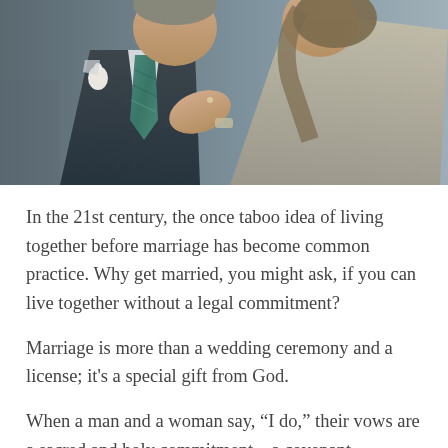[Figure (photo): A couple at what appears to be a wedding. A man in a dark grey suit with a plaid blue-green tie and white boutonniere stands on the left. A woman in a sparkly/sequined dress leans against him with her hand on his chest. The background is blurred.]
In the 21st century, the once taboo idea of living together before marriage has become common practice. Why get married, you might ask, if you can live together without a legal commitment?
Marriage is more than a wedding ceremony and a license; it's a special gift from God.
When a man and a woman say, “I do,” their vows are a sacred and holy commitment—a covenant